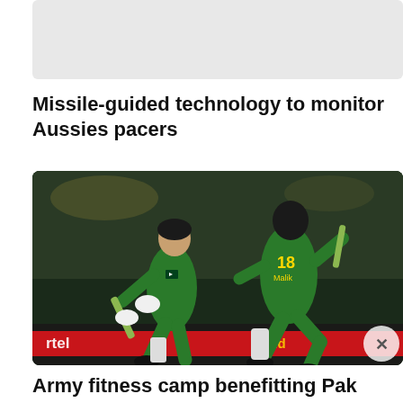[Figure (photo): Partially visible image at top, light gray placeholder]
Missile-guided technology to monitor Aussies pacers
[Figure (photo): Two Pakistan cricket players in green uniforms running between wickets on a cricket field at night, player with number 18 visible on back, crowd in background, Airtel advertisement banner visible]
Army fitness camp benefitting Pak cricketers